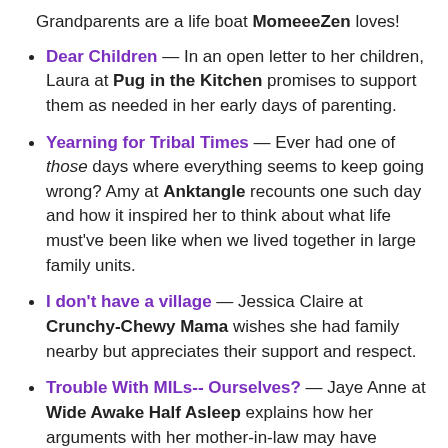Grandparents are a life boat MomeeeZen loves!
Dear Children — In an open letter to her children, Laura at Pug in the Kitchen promises to support them as needed in her early days of parenting.
Yearning for Tribal Times — Ever had one of those days where everything seems to keep going wrong? Amy at Anktangle recounts one such day and how it inspired her to think about what life must've been like when we lived together in large family units.
I don't have a village — Jessica Claire at Crunchy-Chewy Mama wishes she had family nearby but appreciates their support and respect.
Trouble With MILs-- Ourselves? — Jaye Anne at Wide Awake Half Asleep explains how her arguments with her mother-in-law may have something to do with herself.
A Family Apart — Melissa at Vibrant